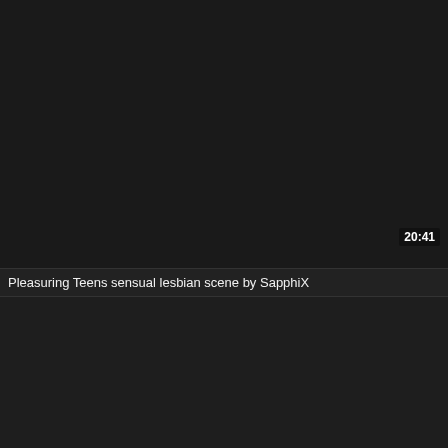[Figure (screenshot): Dark video thumbnail placeholder with black/dark gray background]
20:41
Pleasuring Teens sensual lesbian scene by SapphiX